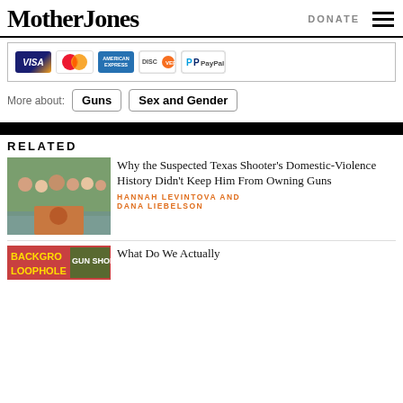Mother Jones | DONATE
[Figure (other): Payment method icons: VISA, MasterCard, American Express, Discover, PayPal]
More about: Guns  Sex and Gender
RELATED
[Figure (photo): Family photo with a separate inset of a man with red beard]
Why the Suspected Texas Shooter's Domestic-Violence History Didn't Keep Him From Owning Guns
HANNAH LEVINTOVA AND DANA LIEBELSON
[Figure (photo): Partial image of a banner with gun-related text]
What Do We Actually